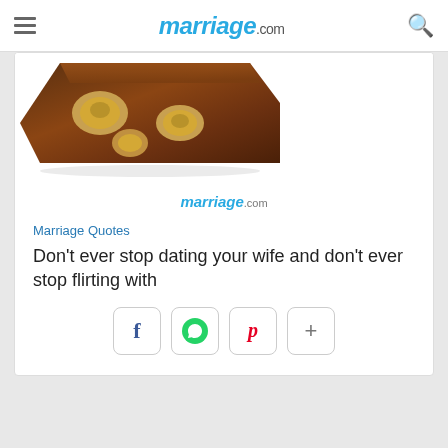marriage.com
[Figure (photo): Partial view of chocolate pieces with nuts on white background]
[Figure (logo): marriage.com logo centered in card]
Marriage Quotes
Don't ever stop dating your wife and don't ever stop flirting with